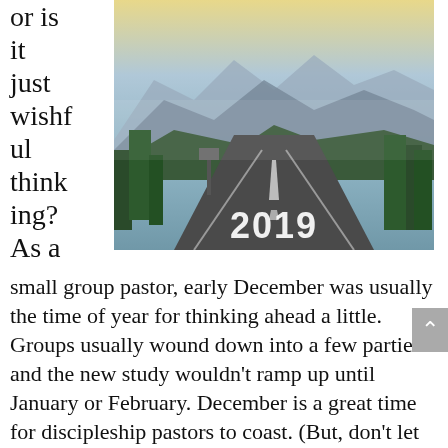or is it just wishful thinking? As a
[Figure (photo): A road stretching into the distance toward misty mountains and green trees, with the year '2019' written in large white text on the road surface.]
small group pastor, early December was usually the time of year for thinking ahead a little. Groups usually wound down into a few parties and the new study wouldn't ramp up until January or February. December is a great time for discipleship pastors to coast. (But, don't let this get out or else you'll spend your time stuffing those little candles into their holders for the Christmas Eve service.)